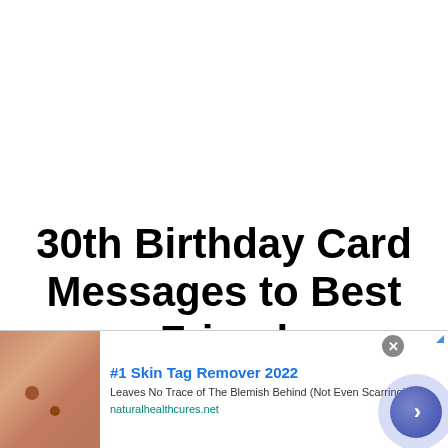30th Birthday Card Messages to Best Friend
Hey there, buddy! You are 30 years old now; time has passed
[Figure (other): Advertisement banner: skin tag remover ad with skin close-up photo, headline '#1 Skin Tag Remover 2022', body text 'Leaves No Trace of The Blemish Behind (Not Even Scarring)', URL 'naturalhealthcures.net', close button and arrow button.]